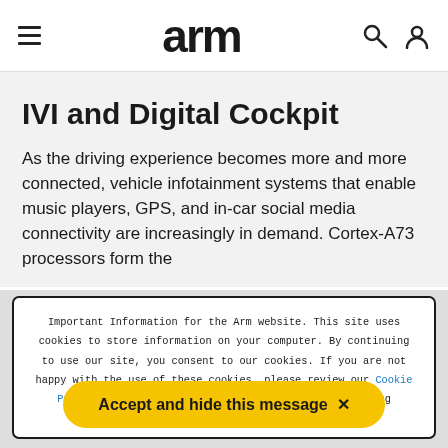arm
IVI and Digital Cockpit
As the driving experience becomes more and more connected, vehicle infotainment systems that enable music players, GPS, and in-car social media connectivity are increasingly in demand. Cortex-A73 processors form the
Important Information for the Arm website. This site uses cookies to store information on your computer. By continuing to use our site, you consent to our cookies. If you are not happy with the use of these cookies, please review our Cookie Policy to learn how they can be disabled. By disabling cookies, some features of the site will not work.
Accept and hide this message ✕